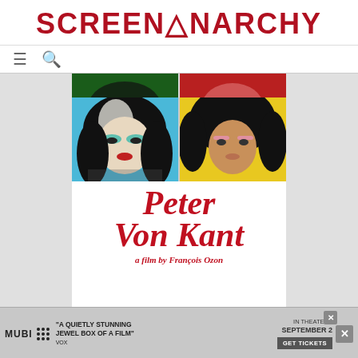SCREENANARCHY
[Figure (screenshot): Screenshot of ScreenAnarchy website showing navigation icons (hamburger menu and search) and a movie poster for 'Peter Von Kant, a film by François Ozon' with Warhol-style pop-art grid of four portrait panels in blue, red, yellow, and white backgrounds, with the film title in large red italic serif text]
[Figure (screenshot): Advertisement banner for MUBI featuring quote 'A QUIETLY STUNNING JEWEL BOX OF A FILM' - VOX, with IN THEATERS SEPTEMBER 2 GET TICKETS button, MUBI logo, close buttons]